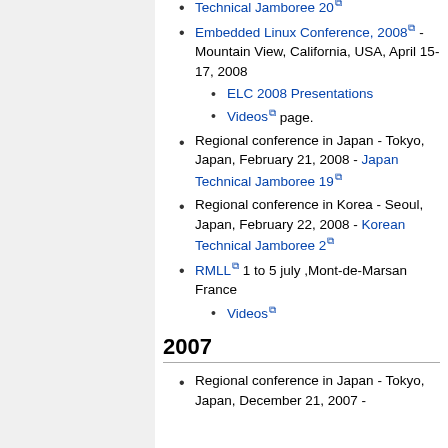Japan Technical Jamboree 20 [link] (partial, top)
Embedded Linux Conference, 2008 [link] - Mountain View, California, USA, April 15-17, 2008
ELC 2008 Presentations [link]
Videos [link] page.
Regional conference in Japan - Tokyo, Japan, February 21, 2008 - Japan Technical Jamboree 19 [link]
Regional conference in Korea - Seoul, Japan, February 22, 2008 - Korean Technical Jamboree 2 [link]
RMLL [link] 1 to 5 july ,Mont-de-Marsan France
Videos [link]
2007
Regional conference in Japan - Tokyo, Japan, December 21, 2007 -